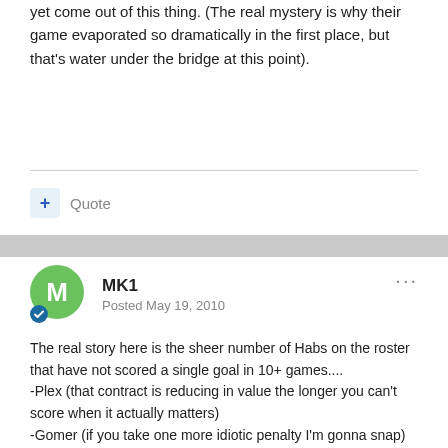yet come out of this thing. (The real mystery is why their game evaporated so dramatically in the first place, but that's water under the bridge at this point).
+ Quote
MK1
Posted May 19, 2010
The real story here is the sheer number of Habs on the roster that have not scored a single goal in 10+ games....
-Plex (that contract is reducing in value the longer you can't score when it actually matters)
-Gomer (if you take one more idiotic penalty I'm gonna snap)
-AK46 (out of excuses and lives for this guy, cya)
There are more to name but those are the big three. It is inexcusable to go an entire MONTH in the playoffs without any of these guys scoring a single goal, period.